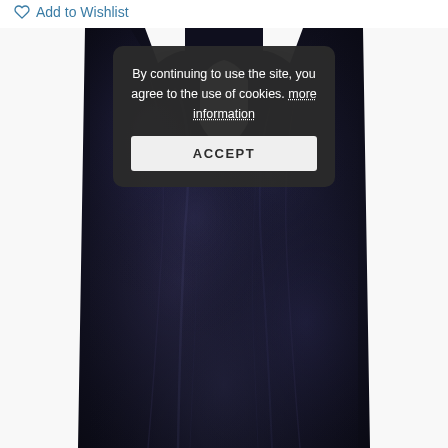Add to Wishlist
[Figure (photo): A black velvet halterneck top/bodysuit photographed against a white background, showing the back with a keyhole cutout. The fabric has a rich, dark velvet texture with subtle light reflections.]
By continuing to use the site, you agree to the use of cookies. more information
ACCEPT